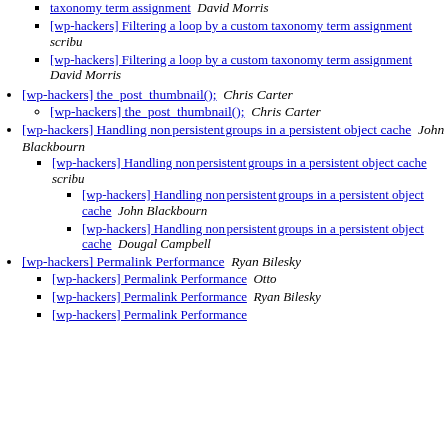[wp-hackers] Filtering a loop by a custom taxonomy term assignment  scribu
[wp-hackers] Filtering a loop by a custom taxonomy term assignment  David Morris
[wp-hackers] the_post_thumbnail();  Chris Carter
[wp-hackers] the_post_thumbnail();  Chris Carter
[wp-hackers] Handling non_persistent_groups in a persistent object cache  John Blackbourn
[wp-hackers] Handling non_persistent_groups in a persistent object cache  scribu
[wp-hackers] Handling non_persistent_groups in a persistent object cache  John Blackbourn
[wp-hackers] Handling non_persistent_groups in a persistent object cache  Dougal Campbell
[wp-hackers] Permalink Performance  Ryan Bilesky
[wp-hackers] Permalink Performance  Otto
[wp-hackers] Permalink Performance  Ryan Bilesky
[wp-hackers] Permalink Performance